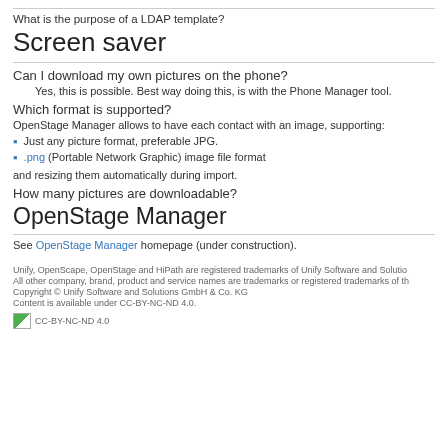What is the purpose of a LDAP template?
Screen saver
Can I download my own pictures on the phone?
Yes, this is possible. Best way doing this, is with the Phone Manager tool.
Which format is supported?
OpenStage Manager allows to have each contact with an image, supporting:
Just any picture format, preferable JPG.
.png (Portable Network Graphic) image file format
and resizing them automatically during import.
How many pictures are downloadable?
OpenStage Manager
See OpenStage Manager homepage (under construction).
Unify, OpenScape, OpenStage and HiPath are registered trademarks of Unify Software and Solutio... All other company, brand, product and service names are trademarks or registered trademarks of t... Copyright © Unify Software and Solutions GmbH & Co. KG Content is available under CC-BY-NC-ND 4.0.
CC-BY-NC-ND 4.0